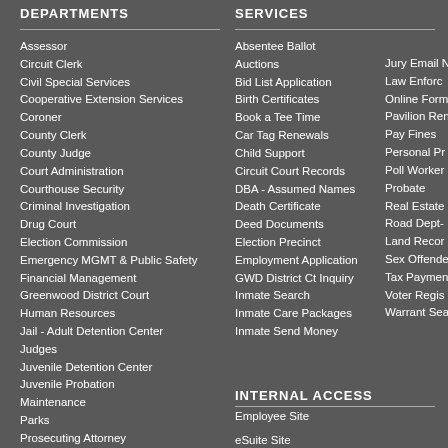DEPARTMENTS
Assessor
Circuit Clerk
Civil Special Services
Cooperative Extension Services
Coroner
County Clerk
County Judge
Court Administration
Courthouse Security
Criminal Investigation
Drug Court
Election Commission
Emergency MGMT & Public Safety
Financial Management
Greenwood District Court
Human Resources
Jail - Adult Detention Center
Judges
Juvenile Detention Center
Juvenile Probation
Maintenance
Parks
Prosecuting Attorney
Public Defender
Purchasing - Auctions & Bids
Quorum Court
Roads
SERVICES
Absentee Ballot
Auctions
Bid List Application
Birth Certificates
Book a Tee Time
Car Tag Renewals
Child Support
Circuit Court Records
DBA - Assumed Names
Death Certificate
Deed Documents
Election Precinct
Employment Application
GWD District Ct Inquiry
Inmate Search
Inmate Care Packages
Inmate Send Money
Jury Email N
Law Enforc
Online Form
Pavilion Ren
Pay Fines
Personal Pr
Poll Worker
Probate
Real Estate
Road Dept-
Land Recor
Sex Offende
Tax Paymen
Voter Regis
Warrant Sea
INTERNAL ACCESS
Employee Site
eSuite Site